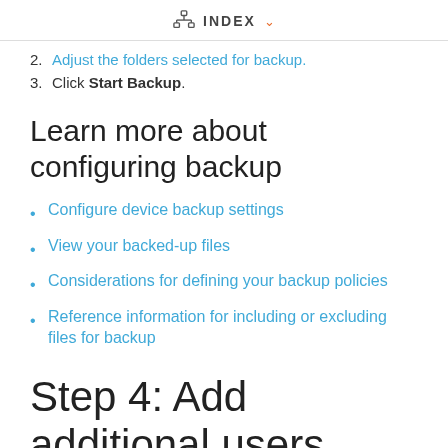INDEX
2. Adjust the folders selected for backup.
3. Click Start Backup.
Learn more about configuring backup
Configure device backup settings
View your backed-up files
Considerations for defining your backup policies
Reference information for including or excluding files for backup
Step 4: Add additional users